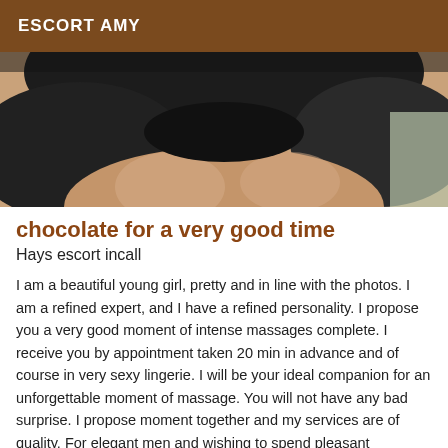ESCORT AMY
[Figure (photo): Close-up photo of a woman's torso wearing a black top/bra, photo cropped at neck and waist level.]
chocolate for a very good time
Hays escort incall
I am a beautiful young girl, pretty and in line with the photos. I am a refined expert, and I have a refined personality. I propose you a very good moment of intense massages complete. I receive you by appointment taken 20 min in advance and of course in very sexy lingerie. I will be your ideal companion for an unforgettable moment of massage. You will not have any bad surprise. I propose moment together and my services are of quality. For elegant men and wishing to spend pleasant moments in the company of a beautiful